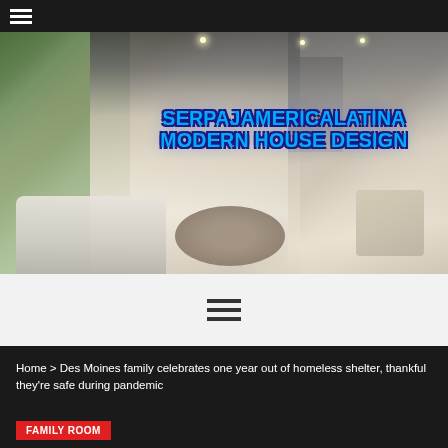[Figure (screenshot): Website header with navigation hamburger menu icon on dark background]
[Figure (photo): Modern luxury living room interior with white sofas, round wooden coffee table, staircase, and floor-to-ceiling windows]
SERPAJAMERICALATINA MODERN HOUSE DESIGN
[Figure (other): Navigation hamburger menu icon (three horizontal lines) on light gray background]
Home > Des Moines family celebrates one year out of homeless shelter, thankful they're safe during pandemic
FAMILY ROOM